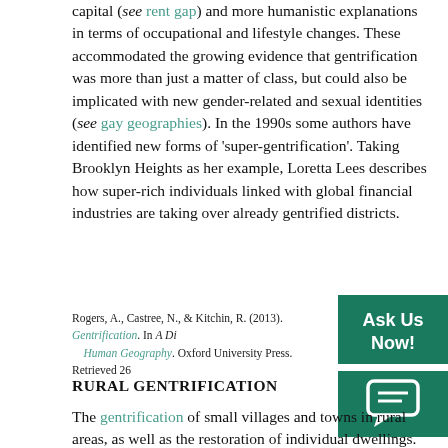capital (see rent gap) and more humanistic explanations in terms of occupational and lifestyle changes. These accommodated the growing evidence that gentrification was more than just a matter of class, but could also be implicated with new gender-related and sexual identities (see gay geographies). In the 1990s some authors have identified new forms of 'super-gentrification'. Taking Brooklyn Heights as her example, Loretta Lees describes how super-rich individuals linked with global financial industries are taking over already gentrified districts.
Rogers, A., Castree, N., & Kitchin, R. (2013). Gentrification. In A Dictionary of Human Geography. Oxford University Press. Retrieved 26...
RURAL GENTRIFICATION
The gentrification of small villages and towns in rural areas, as well as the restoration of individual dwellings. Traditionally, gentrification has been...